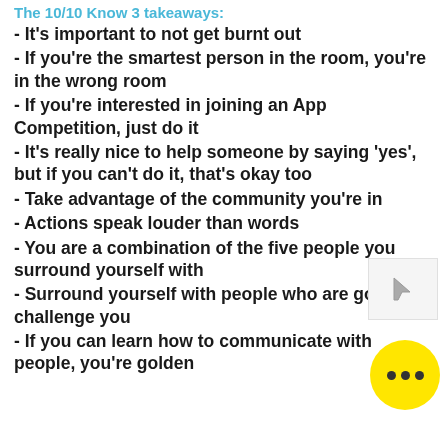The 10/10 Know 3 takeaways:
- It's important to not get burnt out
- If you're the smartest person in the room, you're in the wrong room
- If you're interested in joining an App Competition, just do it
- It's really nice to help someone by saying 'yes', but if you can't do it, that's okay too
- Take advantage of the community you're in
- Actions speak louder than words
- You are a combination of the five people you surround yourself with
- Surround yourself with people who are going to challenge you
- If you can learn how to communicate with people, you're golden